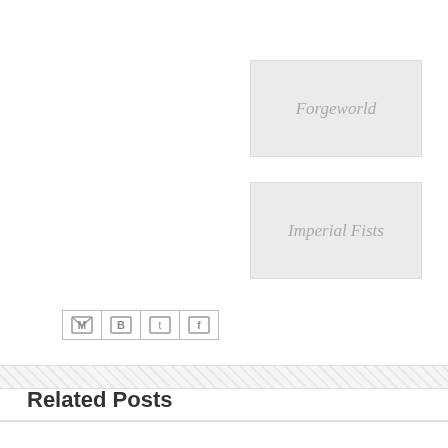[Figure (other): Forgeworld category button - grey rounded rectangle with italic grey text]
[Figure (other): Imperial Fists category button - grey rounded rectangle with italic grey text]
[Figure (other): Social share icons row: Email (M), Blogger (B), Twitter (t), Facebook (f)]
Related Posts
[Figure (photo): Photo of Legion Fellblade model parts laid out on green cutting mat]
Legion Fellblade Build